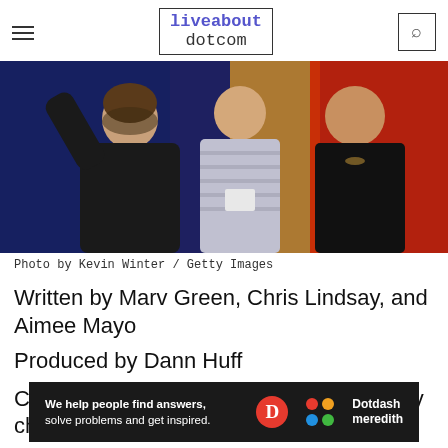liveabout dotcom
[Figure (photo): Three men on a stage, one leaning forward, one in a striped shirt holding cards, one in a black shirt, colorful background]
Photo by Kevin Winter / Getty Images
Written by Marv Green, Chris Lindsay, and Aimee Mayo
Produced by Dann Huff
Country band Lonestar first hit the country charts
[Figure (infographic): Dotdash Meredith ad banner: We help people find answers, solve problems and get inspired.]